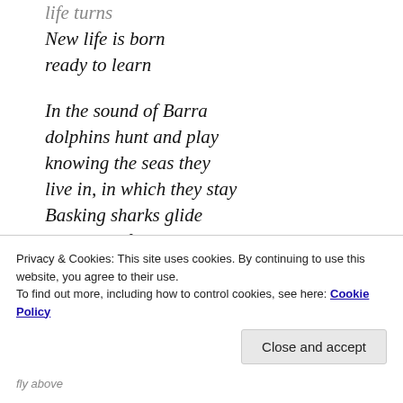life turns
New life is born
ready to learn

In the sound of Barra
dolphins hunt and play
knowing the seas they
live in, in which they stay
Basking sharks glide
sentinels of the sea
Silently they drift
leaving all else be

On land there be stags

fly above
Privacy & Cookies: This site uses cookies. By continuing to use this website, you agree to their use.
To find out more, including how to control cookies, see here: Cookie Policy
Close and accept